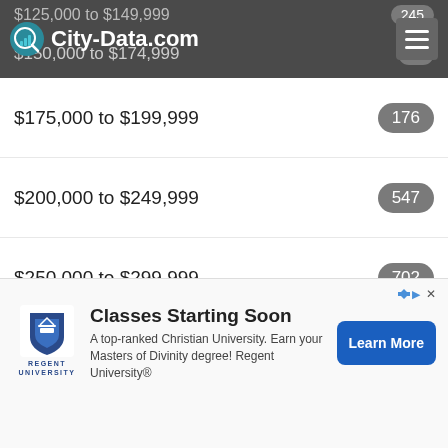City-Data.com
$125,000 to $149,999 — 245
$150,000 to $174,999 — 74
$175,000 to $199,999 — 176
$200,000 to $249,999 — 547
$250,000 to $299,999 — 702
$300,000 to $399,999 — 1,914
$400,000 to $499,999 — 919
$500,000 to $749,999 — 652
$750,000 to $999,999 — 70
[Figure (other): Advertisement for Regent University: Classes Starting Soon. A top-ranked Christian University. Earn your Masters of Divinity degree! Regent University®. Learn More button.]